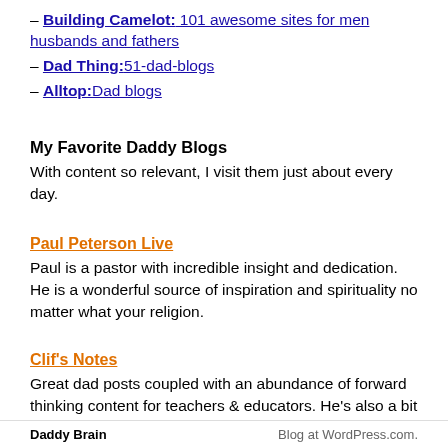– Building Camelot: 101 awesome sites for men husbands and fathers
– Dad Thing: 51-dad-blogs
– Alltop: Dad blogs
My Favorite Daddy Blogs
With content so relevant, I visit them just about every day.
Paul Peterson Live
Paul is a pastor with incredible insight and dedication. He is a wonderful source of inspiration and spirituality no matter what your religion.
Clif's Notes
Great dad posts coupled with an abundance of forward thinking content for teachers & educators. He's also a bit
Daddy Brain     Blog at WordPress.com.